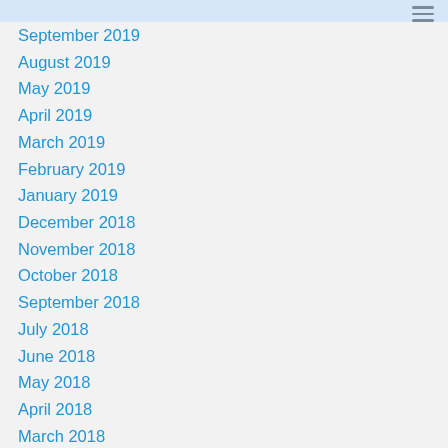September 2019
August 2019
May 2019
April 2019
March 2019
February 2019
January 2019
December 2018
November 2018
October 2018
September 2018
July 2018
June 2018
May 2018
April 2018
March 2018
February 2018
January 2018
December 2017